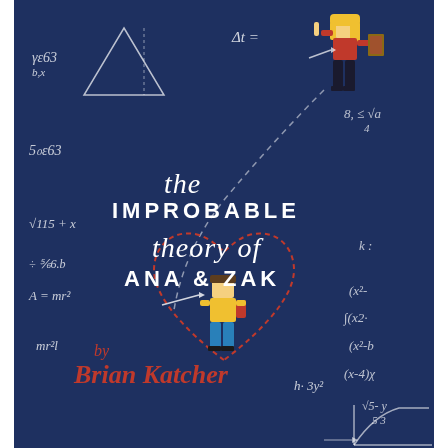[Figure (illustration): Book cover for 'The Improbable Theory of Ana & Zak' by Brian Katcher. Dark navy blue background covered with white handwritten mathematical equations and formulas. Center top has a pixel-art girl character with blonde hair in red top. Center has large title text. Below title is a red dashed heart outline containing a pixel-art boy character in yellow shirt and blue pants. Bottom left has author name 'by Brian Katcher' in red italic text. Various math equations scattered throughout: delta t, square roots, A=mr^2, (x^2-, h-3y^2, etc.]